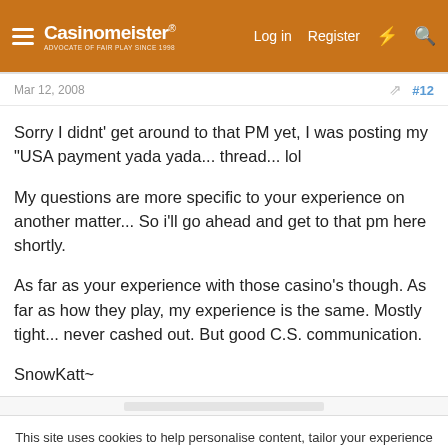[Figure (screenshot): Casinomeister website header navigation bar with logo, Log in, Register, lightning bolt and search icons on an orange background]
Mar 12, 2008  #12
Sorry I didnt' get around to that PM yet, I was posting my "USA payment yada yada... thread... lol
My questions are more specific to your experience on another matter... So i'll go ahead and get to that pm here shortly.
As far as your experience with those casino's though. As far as how they play, my experience is the same. Mostly tight... never cashed out. But good C.S. communication.
SnowKatt~
This site uses cookies to help personalise content, tailor your experience and to keep you logged in if you register.
By continuing to use this site, you are consenting to our use of cookies.